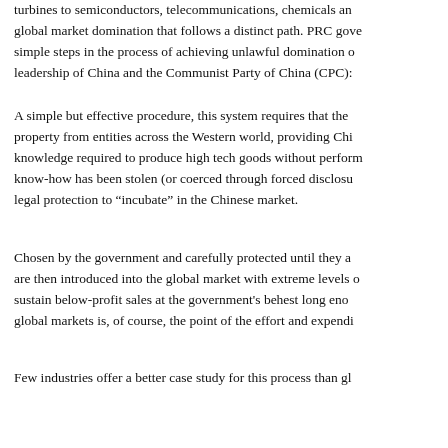turbines to semiconductors, telecommunications, chemicals and global market domination that follows a distinct path. PRC gove simple steps in the process of achieving unlawful domination o leadership of China and the Communist Party of China (CPC):
A simple but effective procedure, this system requires that the property from entities across the Western world, providing Chi knowledge required to produce high tech goods without perform know-how has been stolen (or coerced through forced disclosu legal protection to “incubate” in the Chinese market.
Chosen by the government and carefully protected until they a are then introduced into the global market with extreme levels sustain below-profit sales at the government's behest long eno global markets is, of course, the point of the effort and expendi
Few industries offer a better case study for this process than gl
In 2016, Chinese hackers working for the People's Liberation A Allegheny Technologies Inc., Alcoa, and the United Steelworke cutting edge manufacturing processes and advanced formulas, three major PRC government-owned firms: Baosteel, Chinalco subsidies (illegal by WTO standards), proceeded to sell these p
In 2017, the United States Department of Commerce estimated products from a slough of Chinese companies in the metals i